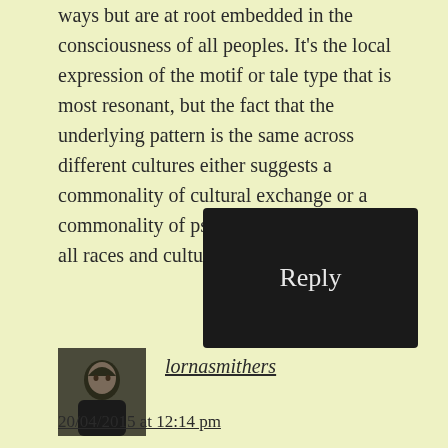ways but are at root embedded in the consciousness of all peoples. It's the local expression of the motif or tale type that is most resonant, but the fact that the underlying pattern is the same across different cultures either suggests a commonality of cultural exchange or a commonality of psychic knowledge between all races and cultures. Or both?
Reply
[Figure (photo): Small square avatar photo of a person with dark hair wearing a black top]
lornasmithers
20/04/2015 at 12:14 pm